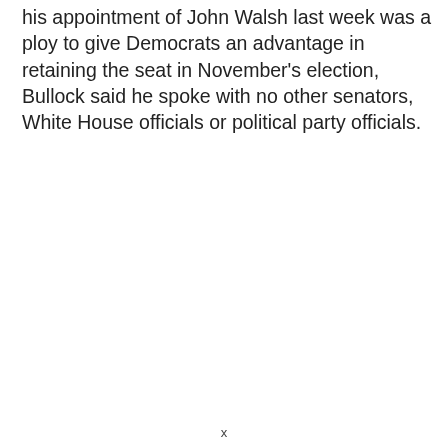his appointment of John Walsh last week was a ploy to give Democrats an advantage in retaining the seat in November's election, Bullock said he spoke with no other senators, White House officials or political party officials.
x